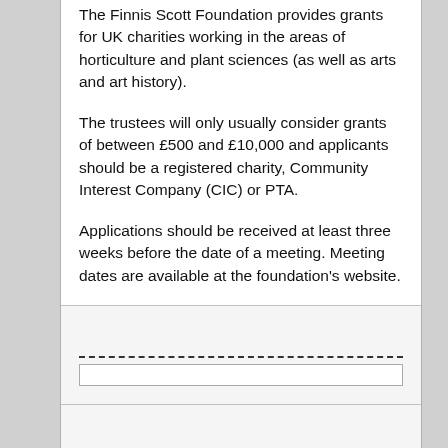The Finnis Scott Foundation provides grants for UK charities working in the areas of horticulture and plant sciences (as well as arts and art history).
The trustees will only usually consider grants of between £500 and £10,000 and applicants should be a registered charity, Community Interest Company (CIC) or PTA.
Applications should be received at least three weeks before the date of a meeting. Meeting dates are available at the foundation's website.